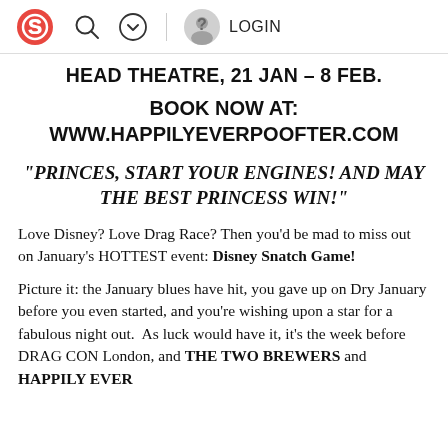S [logo] [search] [chevron] | [user] LOGIN
HEAD THEATRE, 21 JAN – 8 FEB.
BOOK NOW AT:
WWW.HAPPILYEVERPOOFTER.COM
"PRINCES, START YOUR ENGINES! AND MAY THE BEST PRINCESS WIN!"
Love Disney? Love Drag Race? Then you'd be mad to miss out on January's HOTTEST event: Disney Snatch Game!
Picture it: the January blues have hit, you gave up on Dry January before you even started, and you're wishing upon a star for a fabulous night out.  As luck would have it, it's the week before DRAG CON London, and THE TWO BREWERS and HAPPILY EVER